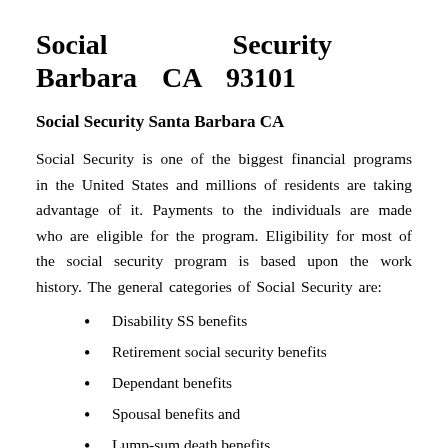Social Security Office Santa Barbara CA 93101
Social Security Santa Barbara CA
Social Security is one of the biggest financial programs in the United States and millions of residents are taking advantage of it. Payments to the individuals are made who are eligible for the program. Eligibility for most of the social security program is based upon the work history. The general categories of Social Security are:
Disability SS benefits
Retirement social security benefits
Dependant benefits
Spousal benefits and
Lump-sum death benefits